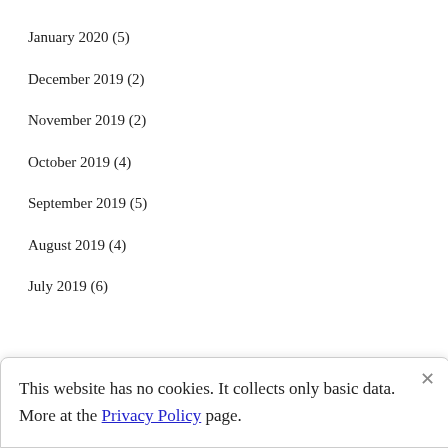January 2020 (5)
December 2019 (2)
November 2019 (2)
October 2019 (4)
September 2019 (5)
August 2019 (4)
July 2019 (6)
This website has no cookies. It collects only basic data. More at the Privacy Policy page.